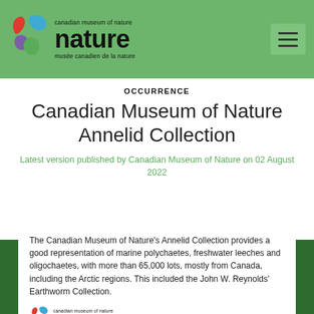[Figure (logo): Canadian Museum of Nature logo with colorful wave design and text 'canadian museum of nature / nature / musée canadien de la nature' on green header background]
OCCURRENCE
Canadian Museum of Nature Annelid Collection
Latest version published by Canadian Museum of Nature on 02 August 2022
The Canadian Museum of Nature's Annelid Collection provides a good representation of marine polychaetes, freshwater leeches and oligochaetes, with more than 65,000 lots, mostly from Canada, including the Arctic regions. This included the John W. Reynolds' Earthworm Collection.
[Figure (logo): Canadian Museum of Nature logo (smaller version) at bottom of white card]